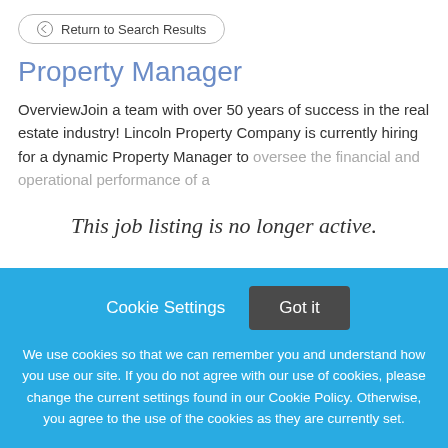← Return to Search Results
Property Manager
OverviewJoin a team with over 50 years of success in the real estate industry! Lincoln Property Company is currently hiring for a dynamic Property Manager to oversee the financial and operational performance of a
This job listing is no longer active.
Cookie Settings  Got it
We use cookies so that we can remember you and understand how you use our site. If you do not agree with our use of cookies, please change the current settings found in our Cookie Policy. Otherwise, you agree to the use of the cookies as they are currently set.